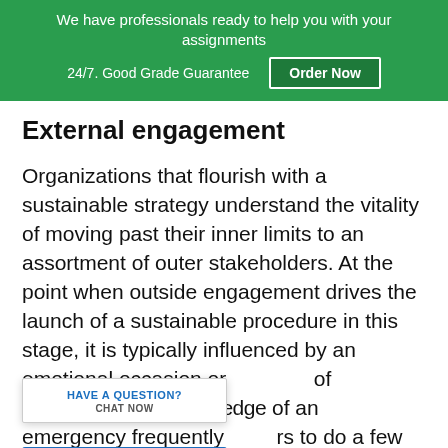We have professionals ready to help you with your assignments 24/7. Good Grade Guarantee Order Now
External engagement
Organizations that flourish with a sustainable strategy understand the vitality of moving past their inner limits to an assortment of outer stakeholders. At the point when outside engagement drives the launch of a sustainable procedure in this stage, it is typically influenced by an emotional occasion or of occasions. The knowledge of an emergency frequently rs to do a few genuine